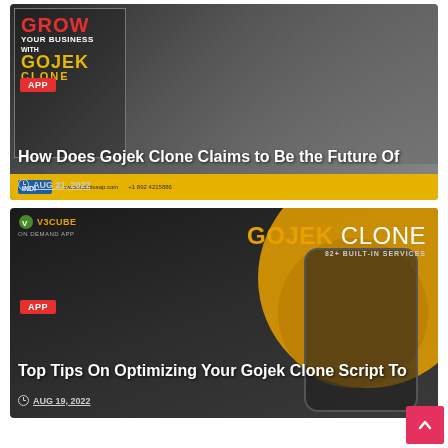[Figure (screenshot): Blog post card 1: Dark background with cityscape, showing 'How Does Gojek Clone Claims to Be the Future Of' article thumbnail with APP badge, dated AUG 21, 2022]
How Does Gojek Clone Claims to Be the Future Of
AUG 21, 2022
[Figure (screenshot): Blog post card 2: Dark background with orange gojek clone branding, 82+ built-in services, showing 'Top Tips On Optimizing Your Gojek Clone Script To' article thumbnail with APP badge, dated AUG 19, 2022]
Top Tips On Optimizing Your Gojek Clone Script To
AUG 19, 2022